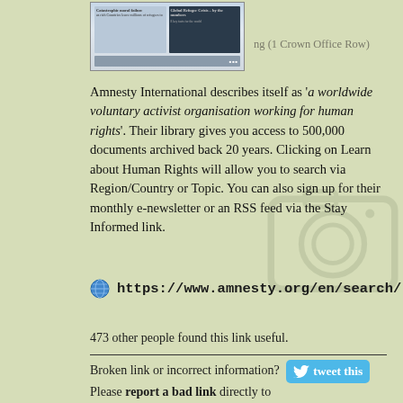[Figure (screenshot): Thumbnail screenshot of a webpage with two columns of content and a dark right panel]
ing (1 Crown Office Row)
Amnesty International describes itself as 'a worldwide voluntary activist organisation working for human rights'. Their library gives you access to 500,000 documents archived back 20 years. Clicking on Learn about Human Rights will allow you to search via Region/Country or Topic. You can also sign up for their monthly e-newsletter or an RSS feed via the Stay Informed link.
https://www.amnesty.org/en/search/
473 other people found this link useful.
Broken link or incorrect information? Please report a bad link directly to us!